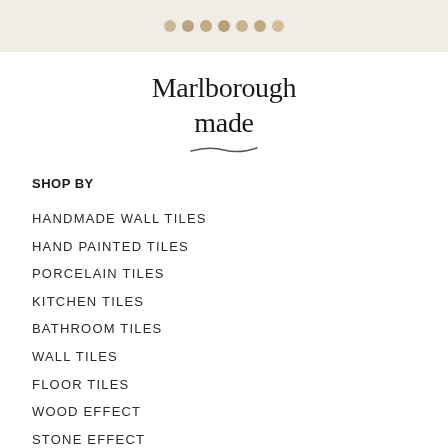[Figure (illustration): Beige/tan header bar with a row of decorative dots in shades of tan and gold]
Marlborough made
SHOP BY
HANDMADE WALL TILES
HAND PAINTED TILES
PORCELAIN TILES
KITCHEN TILES
BATHROOM TILES
WALL TILES
FLOOR TILES
WOOD EFFECT
STONE EFFECT
GROUTS & ADHESIVES